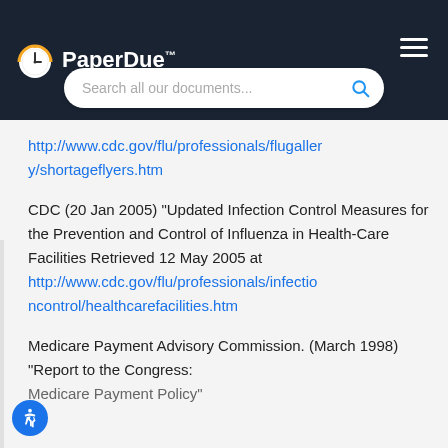PaperDue™
http://www.cdc.gov/flu/professionals/flugallery/shortageflyers.htm
CDC (20 Jan 2005) "Updated Infection Control Measures for the Prevention and Control of Influenza in Health-Care Facilities Retrieved 12 May 2005 at http://www.cdc.gov/flu/professionals/infectioncontrol/healthcarefacilities.htm
Medicare Payment Advisory Commission. (March 1998) "Report to the Congress: Medicare Payment Policy"